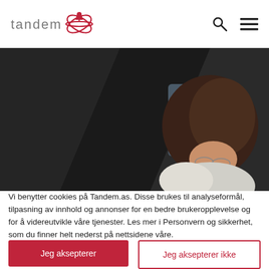[Figure (logo): Tandem logo with red atomic/orbital symbol and gray lowercase text 'tandem']
[Figure (photo): Overhead view of a woman with brown hair and glasses sitting at a dark table, looking down, wearing a light-colored top]
Vi benytter cookies på Tandem.as. Disse brukes til analyseformål, tilpasning av innhold og annonser for en bedre brukeropplevelse og for å videreutvikle våre tjenester. Les mer i Personvern og sikkerhet, som du finner helt nederst på nettsidene våre.
Jeg aksepterer
Jeg aksepterer ikke